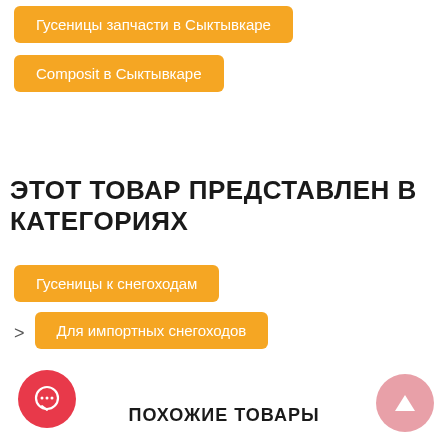Гусеницы запчасти в Сыктывкаре
Composit в Сыктывкаре
ЭТОТ ТОВАР ПРЕДСТАВЛЕН В КАТЕГОРИЯХ
Гусеницы к снегоходам
> Для импортных снегоходов
ПОХОЖИЕ ТОВАРЫ